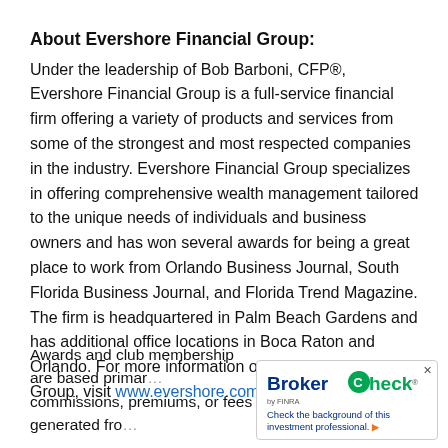About Evershore Financial Group:
Under the leadership of Bob Barboni, CFP®, Evershore Financial Group is a full-service financial firm offering a variety of products and services from some of the strongest and most respected companies in the industry. Evershore Financial Group specializes in offering comprehensive wealth management tailored to the unique needs of individuals and business owners and has won several awards for being a great place to work from Orlando Business Journal, South Florida Business Journal, and Florida Trend Magazine. The firm is headquartered in Palm Beach Gardens and has additional office locations in Boca Raton and Orlando. For more information on Evershore Financial Group, visit www.evershore.com.
Awards and club membership are based primarily on commissions, premiums, or fees generated from...
[Figure (logo): BrokerCheck by FINRA badge with 'Check the background of this investment professional.' call to action]